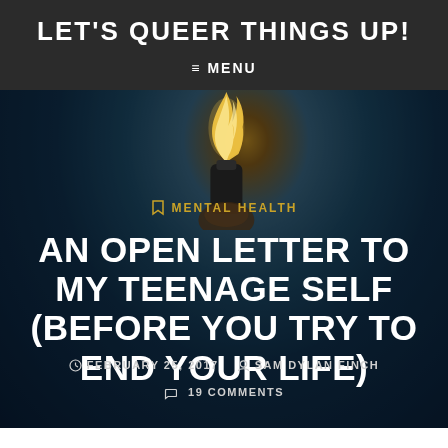LET'S QUEER THINGS UP!
≡ MENU
[Figure (photo): Dark moody background showing a hand holding a lit lighter with a flame, set against a dark blue-teal background. Category tag 'MENTAL HEALTH' overlaid in gold.]
AN OPEN LETTER TO MY TEENAGE SELF (BEFORE YOU TRY TO END YOUR LIFE)
FEBRUARY 25, 2017  SAM DYLAN FINCH  19 COMMENTS